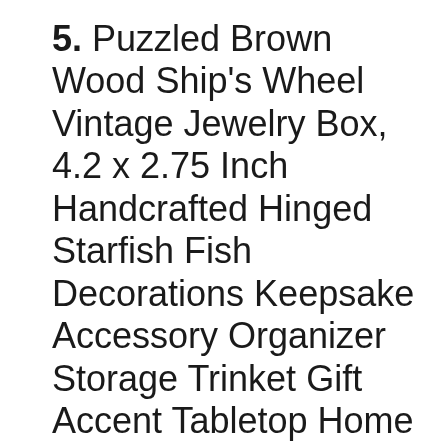5. Puzzled Brown Wood Ship's Wheel Vintage Jewelry Box, 4.2 x 2.75 Inch Handcrafted Hinged Starfish Fish Decorations Keepsake Accessory Organizer Storage Trinket Gift Accent Tabletop Home & Kitchen Decor